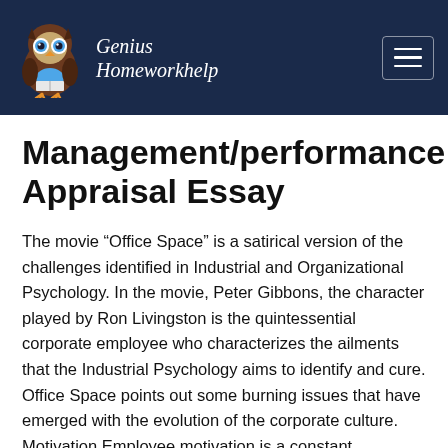Genius Homeworkhelp
Management/performance Appraisal Essay
The movie “Office Space” is a satirical version of the challenges identified in Industrial and Organizational Psychology. In the movie, Peter Gibbons, the character played by Ron Livingston is the quintessential corporate employee who characterizes the ailments that the Industrial Psychology aims to identify and cure. Office Space points out some burning issues that have emerged with the evolution of the corporate culture. Motivation Employee motivation is a constant challenge for every organization whether it has a